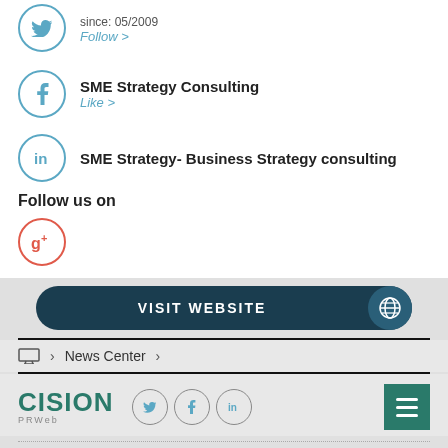since: 05/2009
Follow >
SME Strategy Consulting
Like >
SME Strategy- Business Strategy consulting
Follow us on
[Figure (other): Google+ icon circle]
[Figure (other): VISIT WEBSITE button with globe icon]
> News Center >
[Figure (logo): CISION PRWeb logo with Twitter, Facebook, LinkedIn icons and hamburger menu]
Questions about a news article you've read?
Reach out to the author: contact and available social following